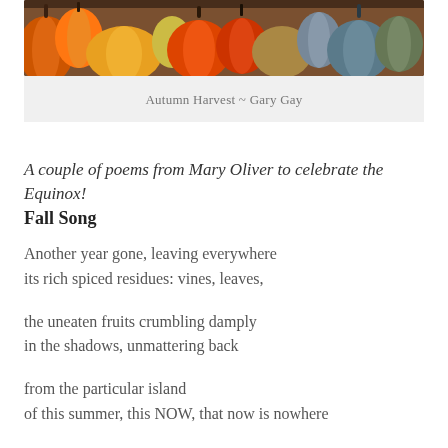[Figure (photo): A colorful autumn harvest photo showing various squashes, pumpkins, and gourds in orange, red, green, grey and gold tones.]
Autumn Harvest ~ Gary Gay
A couple of poems from Mary Oliver to celebrate the Equinox!
Fall Song
Another year gone, leaving everywhere
its rich spiced residues: vines, leaves,

the uneaten fruits crumbling damply
in the shadows, unmattering back

from the particular island
of this summer, this NOW, that now is nowhere

except underfoot, moldering
in that black subterranean castle